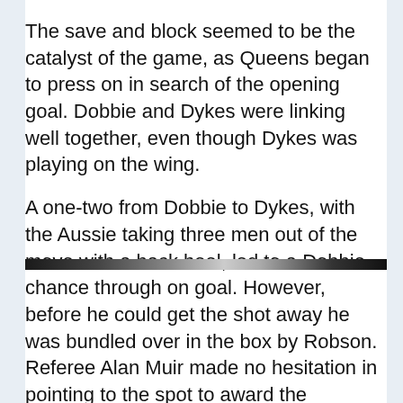The save and block seemed to be the catalyst of the game, as Queens began to press on in search of the opening goal. Dobbie and Dykes were linking well together, even though Dykes was playing on the wing.
A one-two from Dobbie to Dykes, with the Aussie taking three men out of the move with a back heel, led to a Dobbie chance through on goal. However, before he could get the shot away he was bundled over in the box by Robson. Referee Alan Muir made no hesitation in pointing to the spot to award the penalty.
[Figure (photo): Partial photograph visible as a horizontal strip at the bottom of the text area, showing what appears to be people, cropped.]